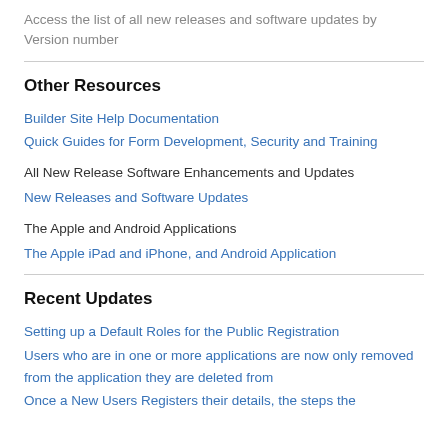Access the list of all new releases and software updates by Version number
Other Resources
Builder Site Help Documentation
Quick Guides for Form Development, Security and Training
All New Release Software Enhancements and Updates
New Releases and Software Updates
The Apple and Android Applications
The Apple iPad and iPhone, and Android Application
Recent Updates
Setting up a Default Roles for the Public Registration
Users who are in one or more applications are now only removed from the application they are deleted from
Once a New Users Registers their details, the steps the